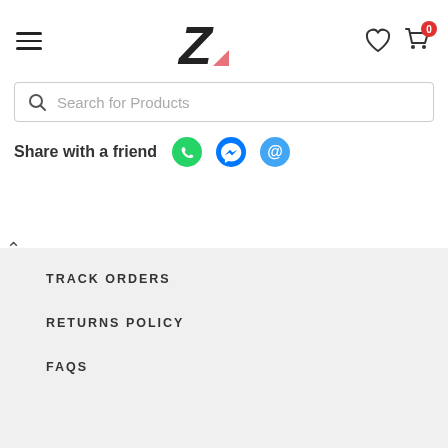[Figure (logo): Z logo with pink triangle in bottom-right corner of the letter]
Search for Products
Share with a friend
[Figure (illustration): Share icons: WhatsApp (green), Facebook Messenger (blue), Email (blue @)]
TRACK ORDERS
RETURNS POLICY
FAQS